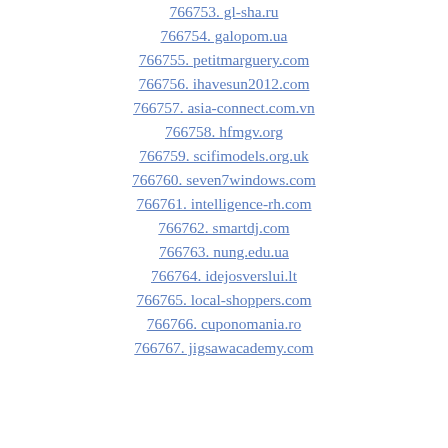766753. gl-sha.ru
766754. galopom.ua
766755. petitmarguery.com
766756. ihavesun2012.com
766757. asia-connect.com.vn
766758. hfmgv.org
766759. scifimodels.org.uk
766760. seven7windows.com
766761. intelligence-rh.com
766762. smartdj.com
766763. nung.edu.ua
766764. idejosverslui.lt
766765. local-shoppers.com
766766. cuponomania.ro
766767. jigsawacademy.com